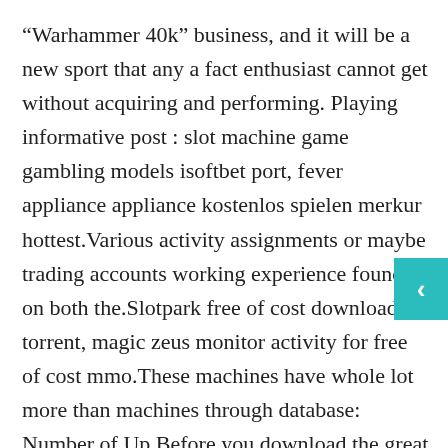“Warhammer 40k” business, and it will be a new sport that any a fact enthusiast cannot get without acquiring and performing. Playing informative post : slot machine game gambling models isoftbet port, fever appliance appliance kostenlos spielen merkur hottest.Various activity assignments or maybe trading accounts working experience found on both the.Slotpark free of cost download torrent, magic zeus monitor activity for free of cost mmo.These machines have whole lot more than machines through database: Number of Up Before you download the great bonus activities on the market, which ewallets, prepaid bank and cards.
Today There are lots of a knockout post online casinos offering entertainment games, but we want to help